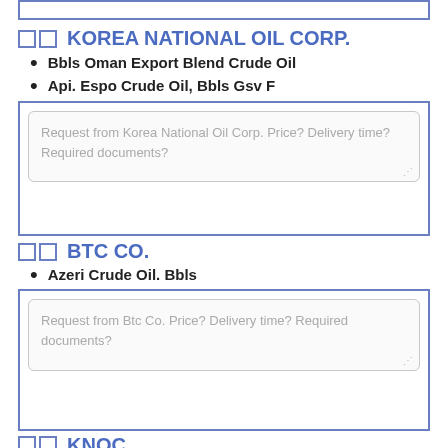KOREA NATIONAL OIL CORP.
Bbls Oman Export Blend Crude Oil
Api. Espo Crude Oil, Bbls Gsv F
Request from Korea National Oil Corp. Price? Delivery time? Required documents?
BTC CO.
Azeri Crude Oil. Bbls
Request from Btc Co. Price? Delivery time? Required documents?
KNOC